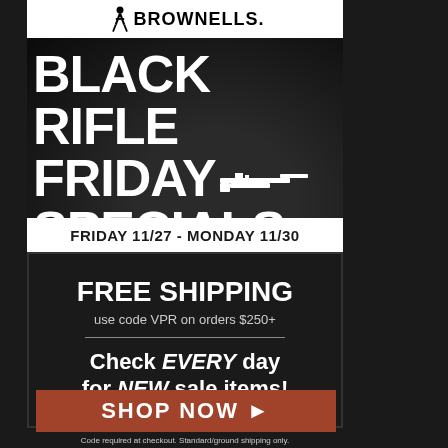[Figure (logo): Brownells logo with silhouette gunsmith figure and BROWNELLS wordmark]
BLACK RIFLE FRIDAY SPECIALS
FRIDAY 11/27 - MONDAY 11/30
FREE SHIPPING
use code VPR on orders $250+
Check EVERY day for NEW sale items!
SHOP NOW ▶
Code required at checkout. Standard/ground shipping only.